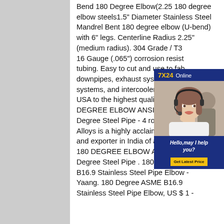Bend 180 Degree Elbow(2.25 180 degree elbow steels1.5" Diameter Stainless Steel Mandrel Bent 180 degree elbow (U-bend) with 6" legs. Centerline Radius 2.25" (medium radius). 304 Grade / T30 16 Gauge (.065") corrosion resist tubing. Easy to cut and use to fab downpipes, exhaust systems, int systems, and intercooler pipes. M USA to the highest quality standa DEGREE ELBOW ANSI B 16 9 1 Degree Steel Pipe - 4 rowsProsa Alloys is a highly acclaimed man and exporter in India of all 180 Degree 180 DEGREE ELBOW ANSI B 16 9 180 Degree Steel Pipe . 180 Degree ASME B16.9 Stainless Steel Pipe Elbow - Yaang. 180 Degree ASME B16.9 Stainless Steel Pipe Elbow, US $ 1 -
[Figure (photo): Advertisement overlay showing a woman wearing a headset, smiling. Navy blue background with '7X24 Online' header text, 'Hello, may I help you?' message in italic white text, and a yellow 'Get Latest Price' button.]